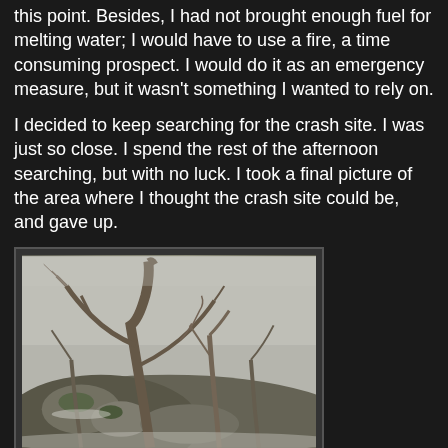this point. Besides, I had not brought enough fuel for melting water; I would have to use a fire, a time consuming prospect. I would do it as an emergency measure, but it wasn't something I wanted to rely on.
I decided to keep searching for the crash site. I was just so close. I spend the rest of the afternoon searching, but with no luck. I took a final picture of the area where I thought the crash site could be, and gave up.
[Figure (photo): A wintry forest scene showing bare, twisted trees on a rocky hillside with snow or frost on the ground and branches. The scene is misty and grey.]
I did however find something for you chaga lovers out there.